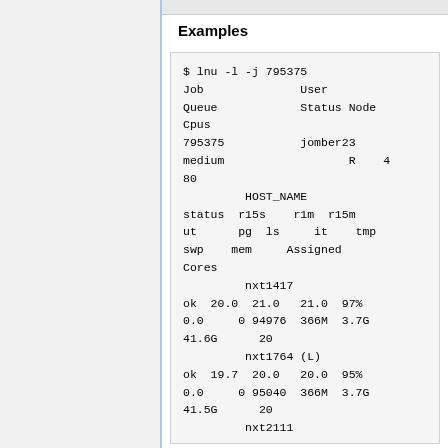Examples
$ lnu -l -j 795375
Job              User
Queue            Status Node
Cpus
795375           jomber23
medium                  R    4
80
         HOST_NAME
status  r15s    r1m  r15m
ut      pg  ls     it    tmp
swp    mem     Assigned
Cores
         nxt1417
ok  20.0  21.0   21.0  97%
0.0     0 94976  366M  3.7G
41.6G      20
         nxt1764 (L)
ok  19.7  20.0   20.0  95%
0.0     0 95040  366M  3.7G
41.5G      20
         nxt2111